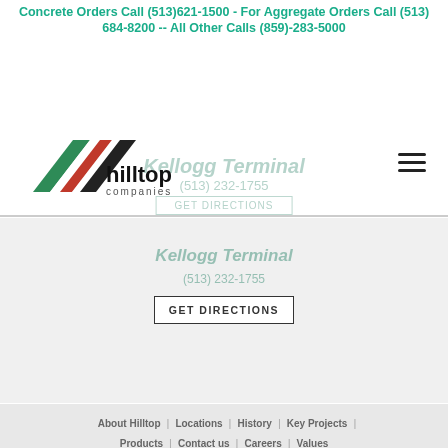Patriot Sand & Gravel
Concrete Orders Call (513)621-1500 - For Aggregate Orders Call (513) 684-8200 -- All Other Calls (859)-283-5000
[Figure (logo): Hilltop Companies logo with red, green and white mountain/arrow shapes and black text]
(812)551-4455
GET DIRECTIONS
Kellogg Terminal
(513) 232-1755
GET DIRECTIONS
About Hilltop
Locations
History
Key Projects
Products
Contact us
Careers
Values
COPYRIGHT @2022 HILLTOP COMPANIES. ALL RIGHTS RESERVED